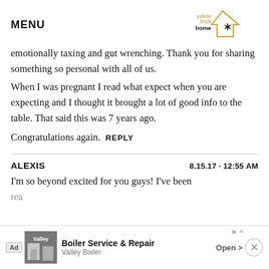MENU | yellow brick home logo
emotionally taxing and gut wrenching. Thank you for sharing something so personal with all of us.
When I was pregnant I read what expect when you are expecting and I thought it brought a lot of good info to the table. That said this was 7 years ago.
Congratulations again.  REPLY
ALEXIS   8.15.17 · 12:55 AM
I'm so beyond excited for you guys! I've been rea...
[Figure (other): Advertisement banner: Boiler Service & Repair by Valley Boiler, with Open button and close X button]